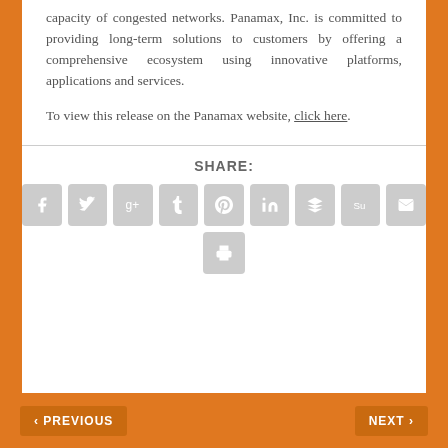capacity of congested networks. Panamax, Inc. is committed to providing long-term solutions to customers by offering a comprehensive ecosystem using innovative platforms, applications and services.
To view this release on the Panamax website, click here.
[Figure (infographic): SHARE: section with social media icon buttons — Facebook, Twitter, Google+, Tumblr, Pinterest, LinkedIn, Buffer, StumbleUpon, Email, and Print]
< PREVIOUS    NEXT >